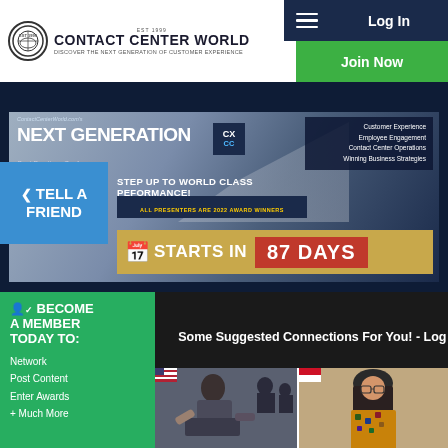Contact Center World | Discover The Next Generation Of Customer Experience
[Figure (screenshot): Contact Center World Next Generation CX CC Best Practices Conferences banner - STEP UP TO WORLD CLASS PEFORMANCE! ALL PRESENTERS ARE 2022 AWARD WINNERS - STARTS IN 87 DAYS]
TELL A FRIEND
[HIDE] Some Suggested Connections For You! - Log In To Start Networking.
BECOME A MEMBER TODAY TO: Network Post Content Enter Awards + Much More
[Figure (photo): Profile photo of a man in a suit seated]
[Figure (photo): Profile photo of a woman wearing glasses and hijab with batik clothing]